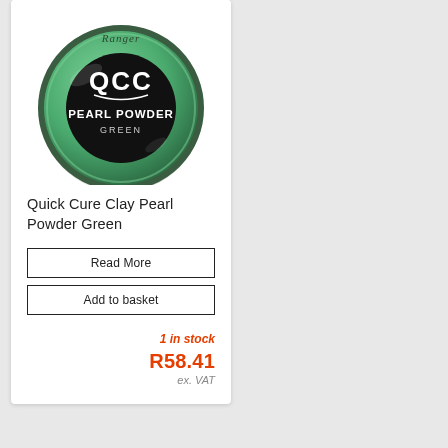[Figure (photo): Product photo of Ranger QCC Pearl Powder Green in a round green tin container with black label showing 'QCC' logo and 'PEARL POWDER GREEN' text.]
Quick Cure Clay Pearl Powder Green
Read More
Add to basket
1 in stock
R58.41
ex. VAT